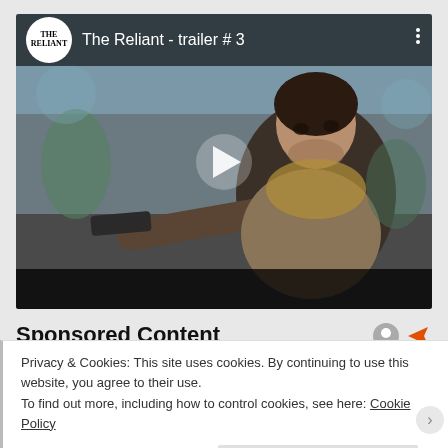[Figure (screenshot): YouTube-style video player showing 'The Reliant - trailer #3' with a man pointing a gun toward the camera. Black top bar with circular logo, video title, and three-dot menu. Play button overlay in center. Black bottom control bar.]
Sponsored Content
Privacy & Cookies: This site uses cookies. By continuing to use this website, you agree to their use.
To find out more, including how to control cookies, see here: Cookie Policy
Close and accept